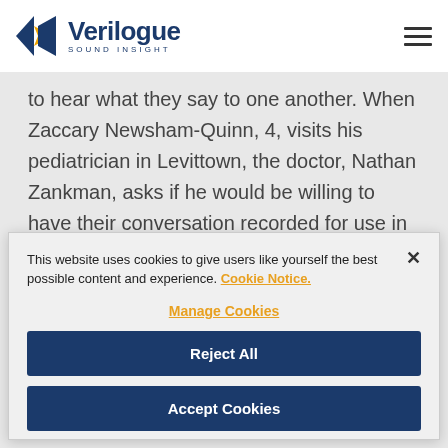Verilogue Sound Insight
to hear what they say to one another. When Zaccary Newsham-Quinn, 4, visits his pediatrician in Levittown, the doctor, Nathan Zankman, asks if he would be willing to have their conversation recorded for use in medical research. Zaccary's mother, Danielle.
This website uses cookies to give users like yourself the best possible content and experience. Cookie Notice.
Manage Cookies
Reject All
Accept Cookies